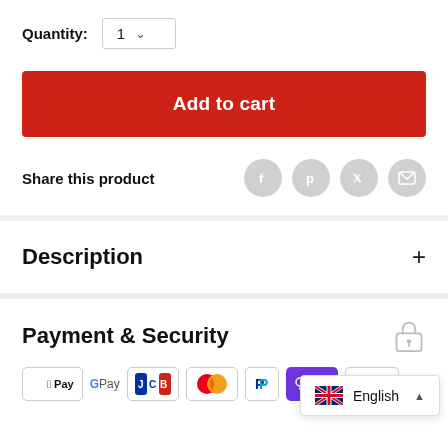Quantity: 1
Add to cart
Share this product
Description
Payment & Security
[Figure (screenshot): Row of payment method logos: Apple Pay, Google Pay, JCB, Mastercard, PayPal, OPay, Visa]
English